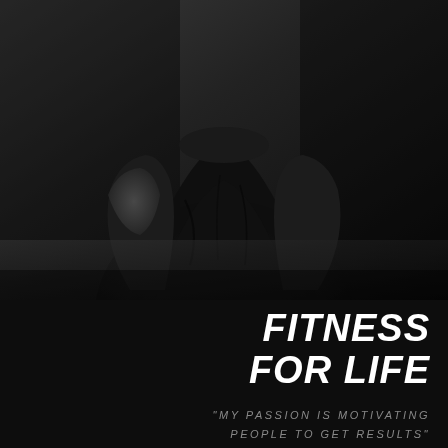[Figure (photo): Black and white photo of a muscular person in a dark t-shirt, photographed from the torso up against a dark gray background, arms slightly back]
FITNESS FOR LIFE
“MY PASSION IS MOTIVATING PEOPLE TO GET RESULTS”
Lorem ipsum dolor sit amet, consectetur adipiscing elit, sed do eiusmod tempor incididunt ut labore et dolore magna aliqua. Ut enim ad minim veniam, quis nostrud exercitation ullamco laboris nisi ut aliquin ex ea commodo